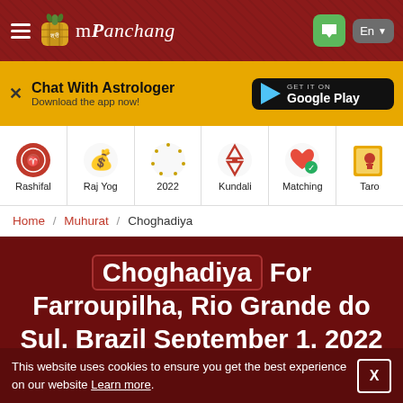mPanchang
[Figure (screenshot): Yellow banner: Chat With Astrologer - Download the app now! with Google Play button]
[Figure (infographic): Navigation icons: Rashifal, Raj Yog, 2022, Kundali, Matching, Taro]
Home / Muhurat / Choghadiya
Choghadiya For Farroupilha, Rio Grande do Sul, Brazil September 1, 2022
This website uses cookies to ensure you get the best experience on our website Learn more.